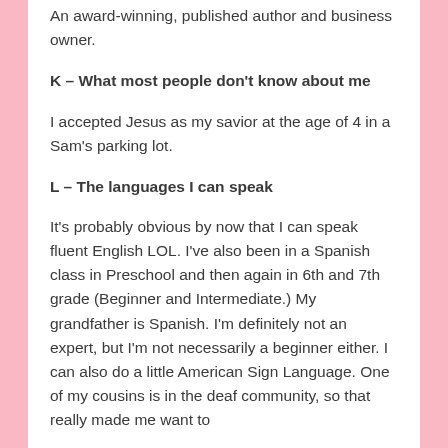An award-winning, published author and business owner.
K – What most people don't know about me
I accepted Jesus as my savior at the age of 4 in a Sam's parking lot.
L – The languages I can speak
It's probably obvious by now that I can speak fluent English LOL. I've also been in a Spanish class in Preschool and then again in 6th and 7th grade (Beginner and Intermediate.) My grandfather is Spanish. I'm definitely not an expert, but I'm not necessarily a beginner either. I can also do a little American Sign Language. One of my cousins is in the deaf community, so that really made me want to